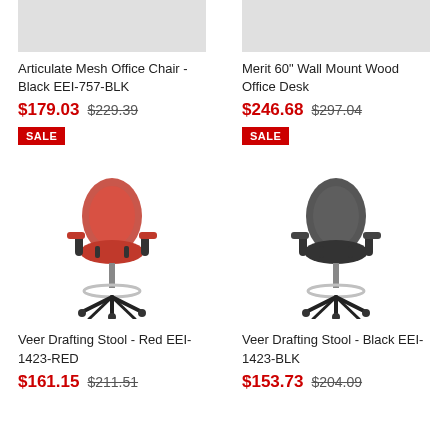[Figure (photo): Top portion of office chair product image - gray background visible]
[Figure (photo): Top portion of office desk product image - gray background visible]
Articulate Mesh Office Chair - Black EEI-757-BLK
$179.03 $229.39
SALE
Merit 60" Wall Mount Wood Office Desk
$246.68 $297.04
SALE
[Figure (photo): Red Veer Drafting Stool with mesh back, flip-up armrests, chrome ring footrest, and five-star wheeled base]
[Figure (photo): Black Veer Drafting Stool with mesh back, flip-up armrests, chrome ring footrest, and five-star wheeled base]
Veer Drafting Stool - Red EEI-1423-RED
$161.15 $211.51
Veer Drafting Stool - Black EEI-1423-BLK
$153.73 $204.09